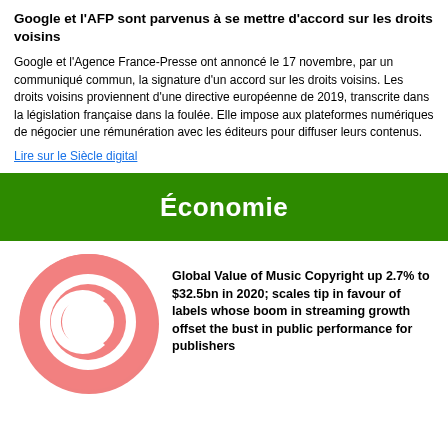Google et l'AFP sont parvenus à se mettre d'accord sur les droits voisins
Google et l'Agence France-Presse ont annoncé le 17 novembre, par un communiqué commun, la signature d'un accord sur les droits voisins. Les droits voisins proviennent d'une directive européenne de 2019, transcrite dans la législation française dans la foulée. Elle impose aux plateformes numériques de négocier une rémunération avec les éditeurs pour diffuser leurs contenus.
Lire sur le Siècle digital
Économie
[Figure (illustration): Pink copyright symbol (C in a circle) on white background]
Global Value of Music Copyright up 2.7% to $32.5bn in 2020; scales tip in favour of labels whose boom in streaming growth offset the bust in public performance for publishers